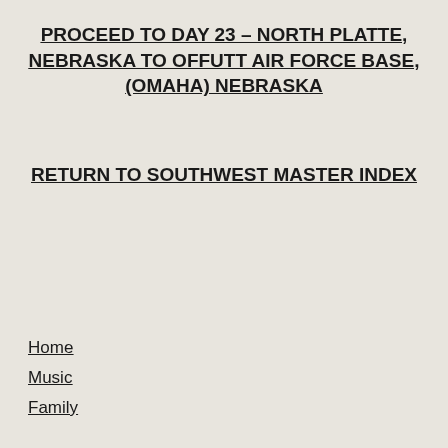PROCEED TO DAY 23 – NORTH PLATTE, NEBRASKA TO OFFUTT AIR FORCE BASE, (OMAHA) NEBRASKA
RETURN TO SOUTHWEST MASTER INDEX
Home
Music
Family